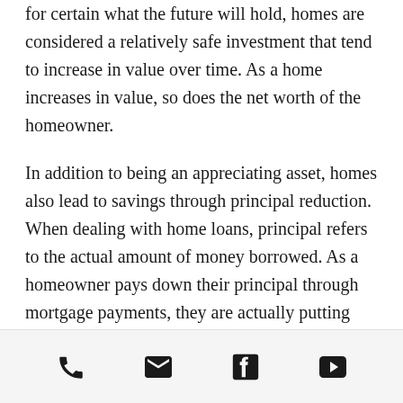for certain what the future will hold, homes are considered a relatively safe investment that tend to increase in value over time. As a home increases in value, so does the net worth of the homeowner.
In addition to being an appreciating asset, homes also lead to savings through principal reduction. When dealing with home loans, principal refers to the actual amount of money borrowed. As a homeowner pays down their principal through mortgage payments, they are actually putting money into their home and paying their future self. When you pay rent to a
[phone] [email] [facebook] [youtube]